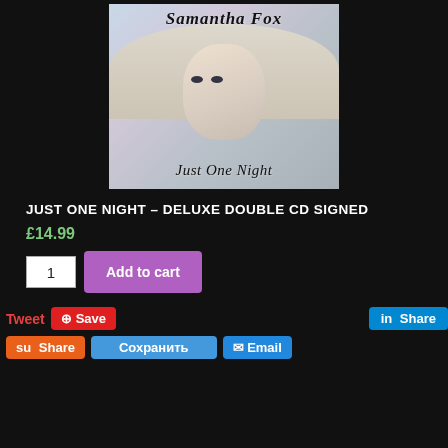[Figure (photo): Album cover for 'Just One Night' by Samantha Fox — shows a blonde woman with the artist name in cursive script at top and album title in cursive at bottom]
JUST ONE NIGHT – DELUXE DOUBLE CD SIGNED
£14.99
1  Add to cart
Tweet  Save  Share  Share  Сохранить  Email